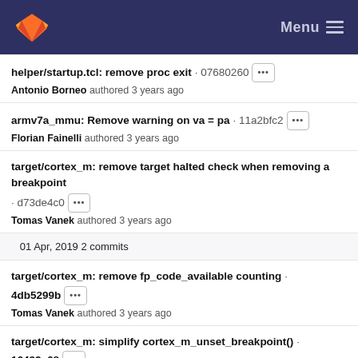Menu
helper/startup.tcl: remove proc exit · 07680260
Antonio Borneo authored 3 years ago
armv7a_mmu: Remove warning on va = pa · 11a2bfc2
Florian Fainelli authored 3 years ago
target/cortex_m: remove target halted check when removing a breakpoint · d73de4c0
Tomas Vanek authored 3 years ago
01 Apr, 2019 2 commits
target/cortex_m: remove fp_code_available counting · 4db5299b
Tomas Vanek authored 3 years ago
target/cortex_m: simplify cortex_m_unset_breakpoint() · 16432e68
Tomas Vanek authored 3 years ago